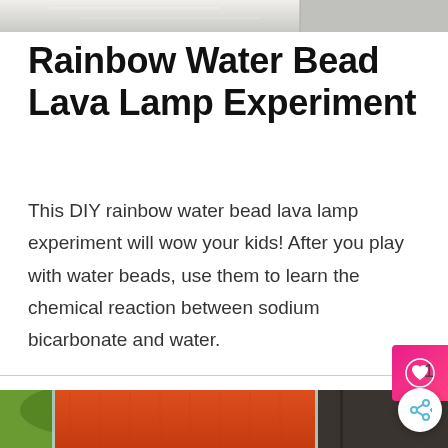[Figure (photo): Partial photo strip at the top of the page showing crafted items on a light background]
Rainbow Water Bead Lava Lamp Experiment
This DIY rainbow water bead lava lamp experiment will wow your kids! After you play with water beads, use them to learn the chemical reaction between sodium bicarbonate and water.
[Figure (photo): Photo at the bottom showing a glass jar with orange/red water beads and green foliage in the background]